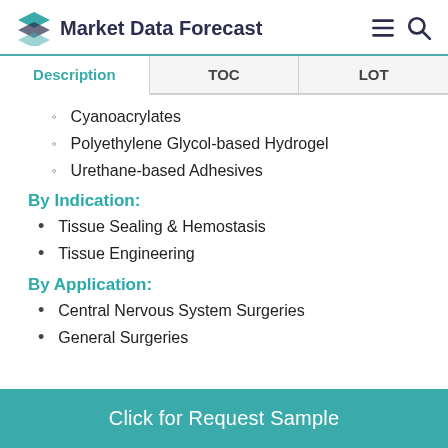Market Data Forecast
| Description | TOC | LOT |
| --- | --- | --- |
Cyanoacrylates
Polyethylene Glycol-based Hydrogel
Urethane-based Adhesives
By Indication:
Tissue Sealing & Hemostasis
Tissue Engineering
By Application:
Central Nervous System Surgeries
General Surgeries
Click for Request Sample